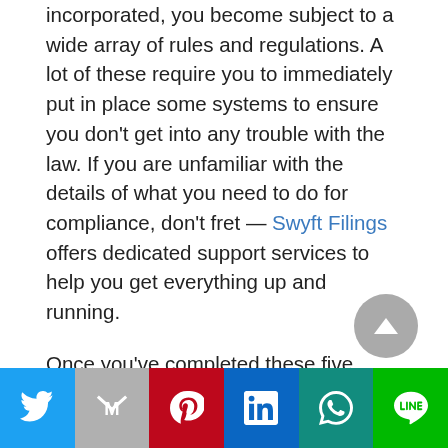incorporated, you become subject to a wide array of rules and regulations. A lot of these require you to immediately put in place some systems to ensure you don't get into any trouble with the law. If you are unfamiliar with the details of what you need to do for compliance, don't fret — Swyft Filings offers dedicated support services to help you get everything up and running.
Once you've completed these five steps – voila! Your company is officially created.
Benefits of Starting Your Own
[Figure (infographic): Social media sharing bar with icons for Twitter, Gmail, Pinterest, LinkedIn, WhatsApp, and LINE]